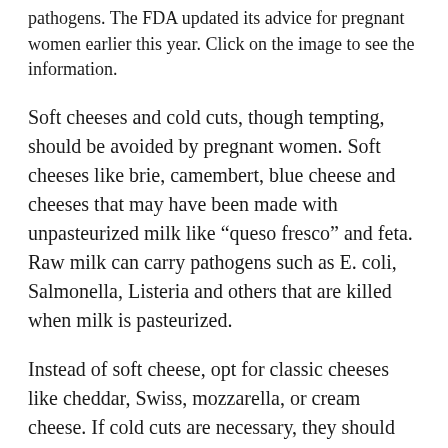pathogens. The FDA updated its advice for pregnant women earlier this year. Click on the image to see the information.
Soft cheeses and cold cuts, though tempting, should be avoided by pregnant women. Soft cheeses like brie, camembert, blue cheese and cheeses that may have been made with unpasteurized milk like “queso fresco” and feta. Raw milk can carry pathogens such as E. coli, Salmonella, Listeria and others that are killed when milk is pasteurized.
Instead of soft cheese, opt for classic cheeses like cheddar, Swiss, mozzarella, or cream cheese. If cold cuts are necessary, they should first be heated to steaming hot or to a minimum temperature of 165 degrees F.